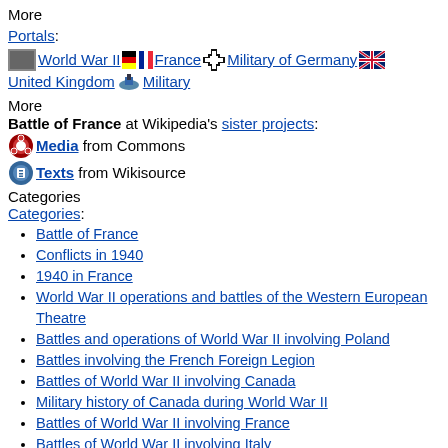More
Portals: World War II · France · Military of Germany · United Kingdom · Military
More
Battle of France at Wikipedia's sister projects:
Media from Commons
Texts from Wikisource
Categories
Categories:
Battle of France
Conflicts in 1940
1940 in France
World War II operations and battles of the Western European Theatre
Battles and operations of World War II involving Poland
Battles involving the French Foreign Legion
Battles of World War II involving Canada
Military history of Canada during World War II
Battles of World War II involving France
Battles of World War II involving Italy
Battles and operations of World War II involving the United Kingdom
Western European theatre of World War II